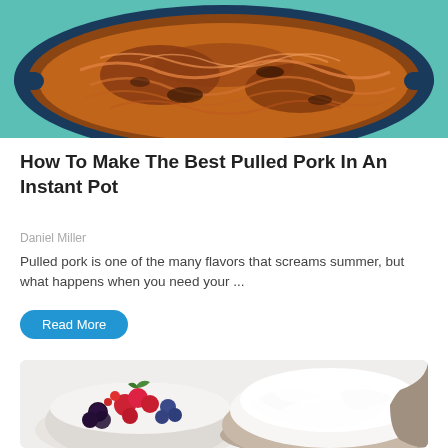[Figure (photo): Top-down view of shredded pulled pork in a blue/dark Dutch oven or pan, on a teal background]
How To Make The Best Pulled Pork In An Instant Pot
Daniel Miller
Pulled pork is one of the many flavors that screams summer, but what happens when you need your ...
Read More
[Figure (photo): Bowl of mixed berries (raspberries, blackberries, blueberries) on the left and a bowl of whipped cream on the right, on a white/grey surface]